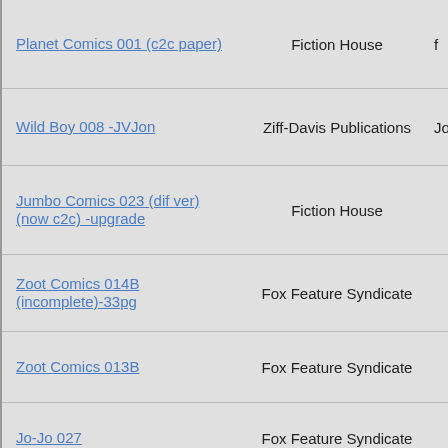| Title | Publisher | Extra |
| --- | --- | --- |
| Planet Comics 001 (c2c paper) | Fiction House | f |
| Wild Boy 008 -JVJon | Ziff-Davis Publications | JonT |
| Jumbo Comics 023 (dif ver) (now c2c) -upgrade | Fiction House |  |
| Zoot Comics 014B (incomplete)-33pg | Fox Feature Syndicate |  |
| Zoot Comics 013B | Fox Feature Syndicate |  |
| Jo-Jo 027 | Fox Feature Syndicate |  |
| Rulah 018 | Fox Feature Syndicate |  |
| Zago 002 | Fox Feature Syndicate |  |
| Zago 003 [diff ver] | Fox Feature Syndicate |  |